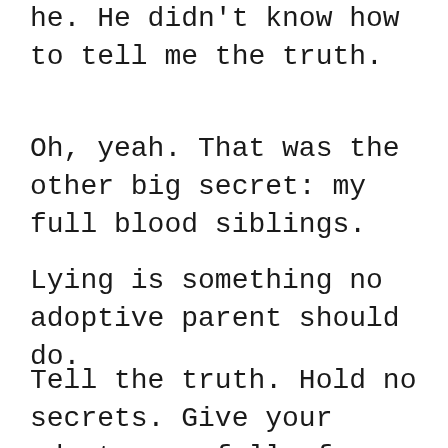he. He didn't know how to tell me the truth.
Oh, yeah. That was the other big secret: my full blood siblings.
Lying is something no adoptive parent should do.
Tell the truth. Hold no secrets. Give your adoptee as full of a family tree of both adoptive and natural